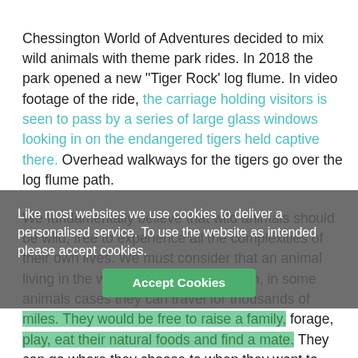Chessington World of Adventures decided to mix wild animals with theme park rides. In 2018 the park opened a new ''Tiger Rock' log flume. In video footage of the ride, the carriage holding visitors is seen to pass by a series of large glass windows looking in on the endangered tigers held captive there. Overhead walkways for the tigers go over the log flume path.
We fundamentally believe that wild animals should be wild, free to experience all the complexities of their own lives. We must consider that an animal living in the wild would be free to roam, in some animals cases they can travel for thousands of miles. They would be free to raise a family, forage, play, eat their natural foods and find a mate. They can go where they choose to when they want to. When they can do...
Like most websites we use cookies to deliver a personalised service. To use the website as intended please accept cookies.